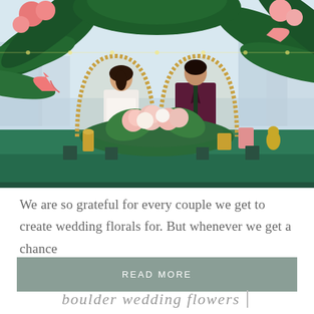[Figure (photo): Wedding couple seated at a floral-decorated sweetheart table with tropical greenery, pink flowers, and rattan peacock chairs. Teal tablecloth with gold decorative items.]
We are so grateful for every couple we get to create wedding florals for. But whenever we get a chance
READ MORE
boulder wedding flowers |